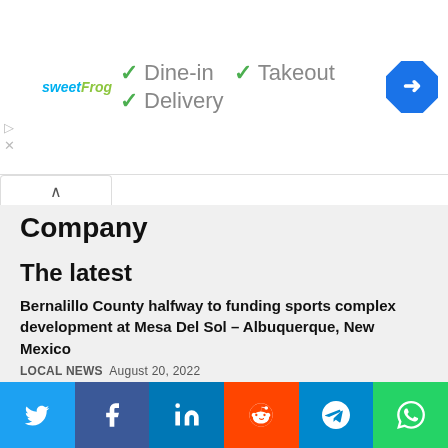[Figure (infographic): Ad banner for sweetFrog showing dine-in, takeout, and delivery options with checkmarks, and a navigation icon]
Company
The latest
Bernalillo County halfway to funding sports complex development at Mesa Del Sol – Albuquerque, New Mexico
LOCAL NEWS  August 20, 2022
Coastal Bend Blood Center hopes for large turnout at upcoming blood drive – Riverside, California
LOCAL NEWS  August 19, 2022
[Figure (infographic): Social sharing bar with Twitter, Facebook, LinkedIn, Reddit, Telegram, WhatsApp buttons]